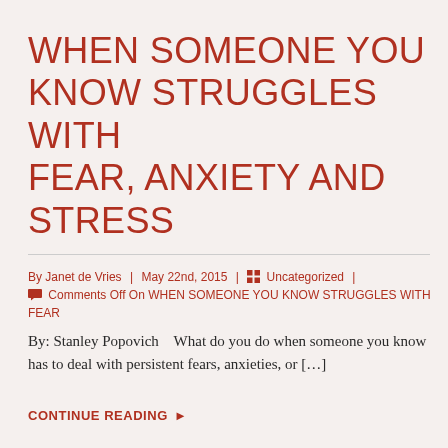WHEN SOMEONE YOU KNOW STRUGGLES WITH FEAR, ANXIETY AND STRESS
By Janet de Vries  |  May 22nd, 2015  |  Uncategorized  |  Comments Off On WHEN SOMEONE YOU KNOW STRUGGLES WITH FEAR
By: Stanley Popovich   What do you do when someone you know has to deal with persistent fears, anxieties, or […]
CONTINUE READING ▸